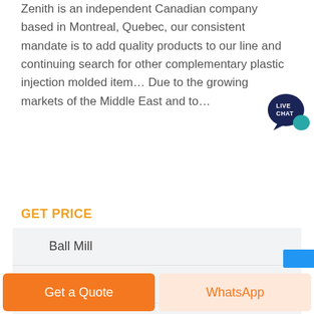Zenith is an independent Canadian company based in Montreal, Quebec, our consistent mandate is to add quality products to our line and continuing search for other complementary plastic injection molded item… Due to the growing markets of the Middle East and to…
[Figure (illustration): Live chat speech bubble icon in dark blue/teal with 'LIVE CHAT' text in white]
GET PRICE
Ball Mill
Belt Conveyor
BWZ Heavy Duty Apron Feeder
Get a Quote | WhatsApp